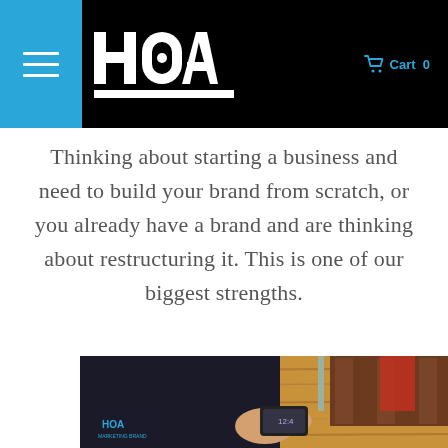[Figure (logo): HOA logo on black navigation header with blue menu button and cart icon showing Cart 0]
Thinking about starting a business and need to build your brand from scratch, or you already have a brand and are thinking about restructuring it. This is one of our biggest strengths.
[Figure (photo): Person wearing a dark HOA Marketing Solutions branded jacket, sitting at a wooden table looking at a smartphone. Background shows wooden wall panels and seating.]